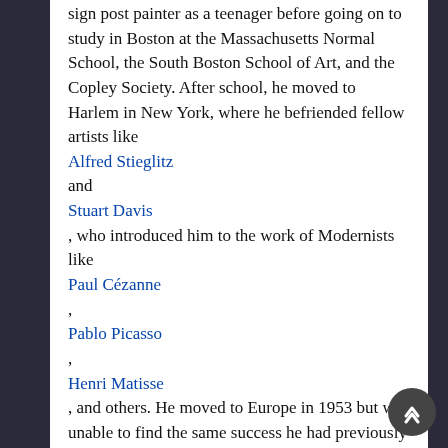sign post painter as a teenager before going on to study in Boston at the Massachusetts Normal School, the South Boston School of Art, and the Copley Society. After school, he moved to Harlem in New York, where he befriended fellow artists like Alfred Stieglitz and Stuart Davis , who introduced him to the work of Modernists like Paul Cézanne , Pablo Picasso , Henri Matisse , and others. He moved to Europe in 1953 but was unable to find the same success he had previously had in New York, and gradually succumbed to alcoholism and mental health problems before his death on March 26, 1979 in Paris, France. Today, Delaney's works are in the collections of the Art Institute of Chicago, The Museum of Modern Art in New York, and the Philadelphia Museum of Art, among others. Fame, at least lasting fame — the